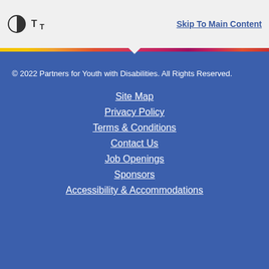Skip To Main Content
© 2022 Partners for Youth with Disabilities. All Rights Reserved.
Site Map
Privacy Policy
Terms & Conditions
Contact Us
Job Openings
Sponsors
Accessibility & Accommodations